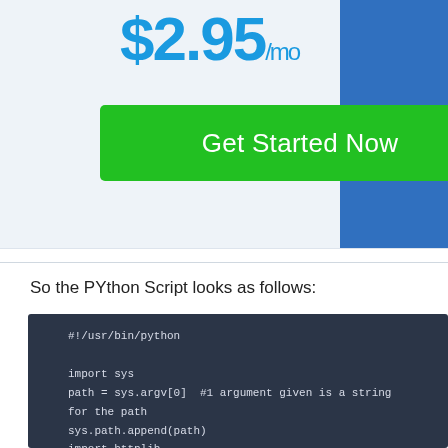[Figure (screenshot): Web hosting advertisement showing price $2.95/mo and a green Get Started Now button, with a blue rectangle on the right side]
So the PYthon Script looks as follows:
[Figure (screenshot): Dark code block showing Python script with shebang line, sys import, path assignment, sys.path.append, httplib/urllib/string imports, and def MethodCall(OutputString):]